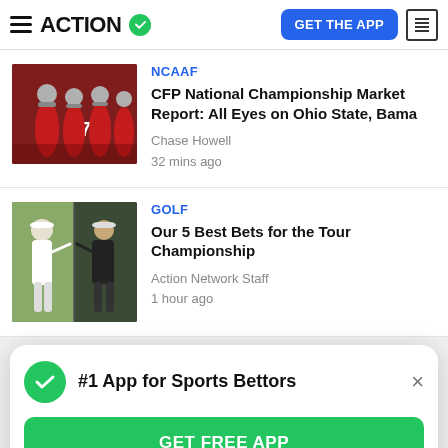ACTION — GET THE APP
NCAAF
CFP National Championship Market Report: All Eyes on Ohio State, Bama
Chase Howell
32 mins ago
GOLF
Our 5 Best Bets for the Tour Championship
Action Network Staff
1 hour ago
#1 App for Sports Bettors
GET FREE APP